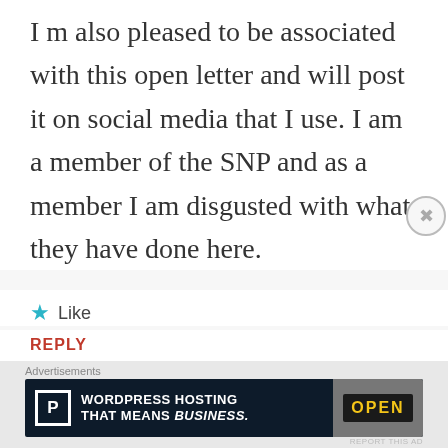I m also pleased to be associated with this open letter and will post it on social media that I use. I am a member of the SNP and as a member I am disgusted with what they have done here.
★ Like
REPLY
Advertisements
[Figure (screenshot): Advertisement banner: left side shows text 'The first rule of Startup School?' and right side shows dark navy banner with text 'Ask questions.' and WordPress logo circle plus another circle logo]
REPORT THIS AD
Advertisements
[Figure (screenshot): Advertisement banner: dark navy background with white P box logo, text 'WORDPRESS HOSTING THAT MEANS BUSINESS.' and a photo of an OPEN sign]